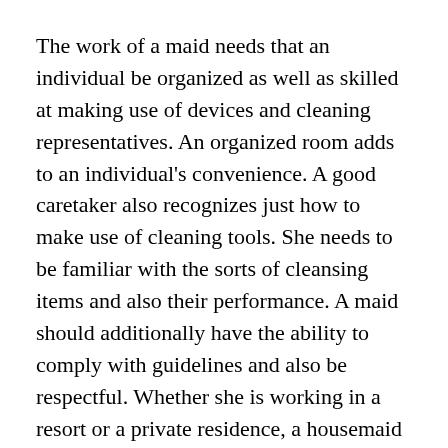The work of a maid needs that an individual be organized as well as skilled at making use of devices and cleaning representatives. An organized room adds to an individual's convenience. A good caretaker also recognizes just how to make use of cleaning tools. She needs to be familiar with the sorts of cleansing items and also their performance. A maid should additionally have the ability to comply with guidelines and also be respectful. Whether she is working in a resort or a private residence, a housemaid needs to be experienced at interaction.
One of the most crucial top qualities a maid should have is honesty. Even if the maid is a